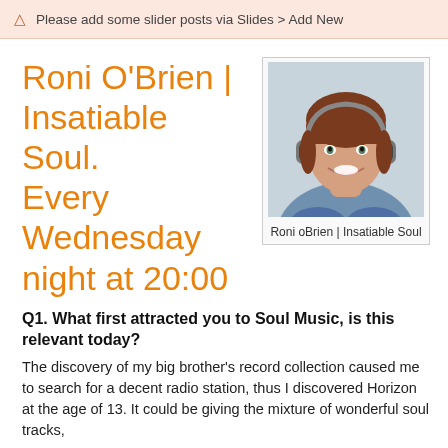⚠ Please add some slider posts via Slides > Add New
Roni O'Brien | Insatiable Soul. Every Wednesday night at 20:00
[Figure (photo): Photo of Roni O'Brien wearing headphones, smiling, with brown/auburn hair with bangs.]
Roni oBrien | Insatiable Soul
Q1. What first attracted you to Soul Music, is this relevant today?
The discovery of my big brother's record collection caused me to search for a decent radio station, thus I discovered Horizon at the age of 13. It could be giving the mixture of wonderful soul tracks,